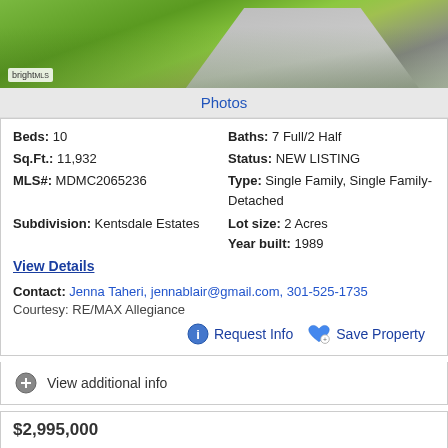[Figure (photo): Exterior photo of property showing green lawn and driveway, with bright MLS watermark]
Photos
Beds: 10
Baths: 7 Full/2 Half
Sq.Ft.: 11,932
Status: NEW LISTING
MLS#: MDMC2065236
Type: Single Family, Single Family-Detached
Subdivision: Kentsdale Estates
Lot size: 2 Acres
Year built: 1989
View Details
Contact: Jenna Taheri, jennablair@gmail.com, 301-525-1735
Courtesy: RE/MAX Allegiance
Request Info
Save Property
View additional info